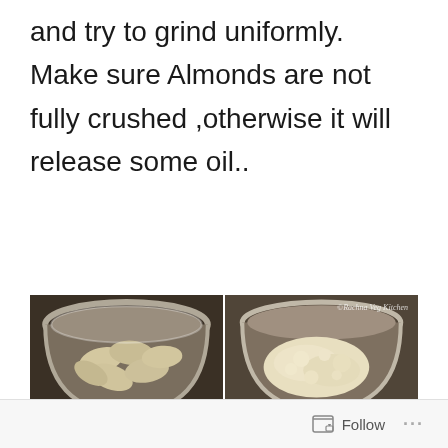and try to grind uniformly. Make sure Almonds are not fully crushed ,otherwise it will release some oil..
[Figure (photo): Two side-by-side photos in a bowl: left shows whole soaked almonds in a metal bowl; right shows coarsely ground almonds in a metal bowl with a watermark reading '©Rachna Veg Kitchen']
Follow ...